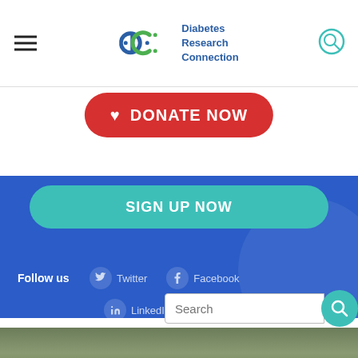[Figure (screenshot): Website header with hamburger menu, Diabetes Research Connection logo, and search icon]
[Figure (screenshot): Red 'DONATE NOW' button with heart icon]
[Figure (screenshot): Teal 'SIGN UP NOW' button on blue background]
Follow us
Twitter
Facebook
LinkedIn
Instagram
[Figure (screenshot): Search input field with teal search button]
[Figure (photo): Partial photo at bottom of page showing outdoor greenery]